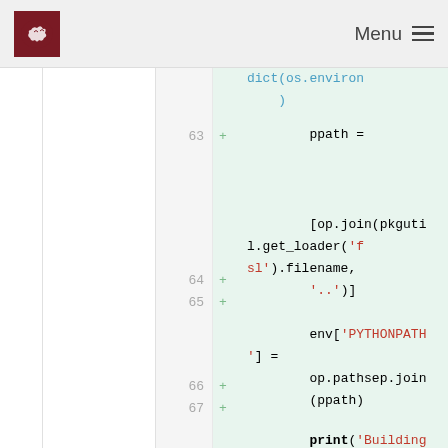Menu
[Figure (screenshot): Code diff view showing Python code lines 63-67 with line numbers, plus signs, and syntax-highlighted code on a light green background. Code includes: dict(os.environ), ppath = [op.join(pkgutil.get_loader('fsl').filename, '..')], env['PYTHONPATH'] = op.pathsep.join(ppath), print('Building documentation [{}]'.format(destdir))]